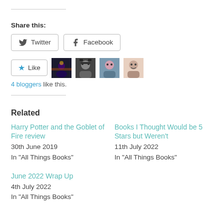Share this:
Twitter  Facebook
[Figure (other): Like button with star icon and 4 blogger avatars]
4 bloggers like this.
Related
Harry Potter and the Goblet of Fire review
30th June 2019
In "All Things Books"
Books I Thought Would be 5 Stars but Weren't
11th July 2022
In "All Things Books"
June 2022 Wrap Up
4th July 2022
In "All Things Books"